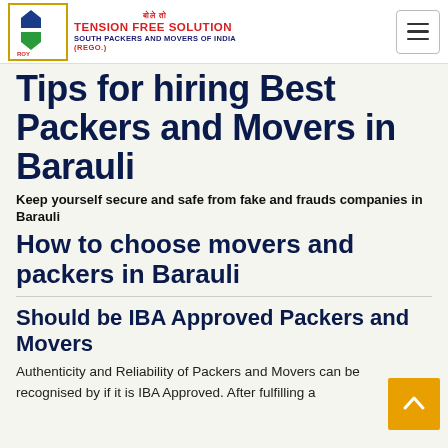Roy Group | Tension Free Solution | South Packers and Movers of India (Rego.)
Tips for hiring Best Packers and Movers in Barauli
Keep yourself secure and safe from fake and frauds companies in Barauli
How to choose movers and packers in Barauli
Should be IBA Approved Packers and Movers
Authenticity and Reliability of Packers and Movers can be recognised by if it is IBA Approved. After fulfilling a